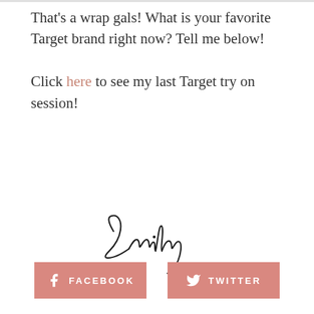That's a wrap gals!  What is your favorite Target brand right now?  Tell me below!

Click here to see my last Target try on session!
[Figure (illustration): Handwritten cursive signature reading 'Emily' in black ink on white background]
FACEBOOK   TWITTER (social share buttons)